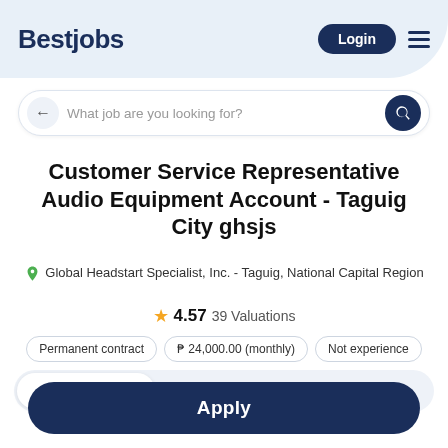Bestjobs | Login
What job are you looking for?
Customer Service Representative Audio Equipment Account - Taguig City ghsjs
Global Headstart Specialist, Inc. - Taguig, National Capital Region
4.57  39 Valuations
Permanent contract
₱ 24,000.00 (monthly)
Not experience
Offer  Company  Valuations
Apply